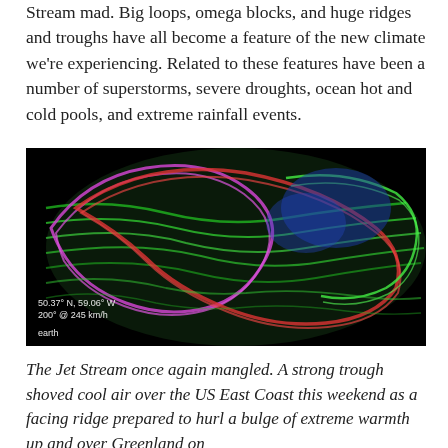Stream mad. Big loops, omega blocks, and huge ridges and troughs have all become a feature of the new climate we're experiencing. Related to these features have been a number of superstorms, severe droughts, ocean hot and cold pools, and extreme rainfall events.
[Figure (photo): Jet stream visualization showing colorful swirling wind patterns over North America. Colors range from green (moderate winds) to red and purple (very strong winds) on a dark/black background. Overlay text reads '50.37° N, 59.06° W', '200° @ 245 km/h', and 'earth'.]
The Jet Stream once again mangled. A strong trough shoved cool air over the US East Coast this weekend as a facing ridge prepared to hurl a bulge of extreme warmth up and over Greenland on